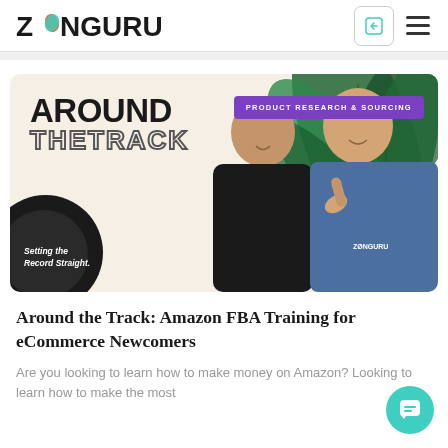ZANGURU
[Figure (photo): Around the Track podcast-style promotional image showing two smiling men with tropical green leaves background on beige/cream background. Purple badge reads 'PRODUCT RESEARCH & SOURCING'. Bold title 'AROUND THE TRACK' in top left. Black record disc with 'Setting the Record Straight.' text in bottom left. ZonGuru logo on shirt of right man.]
Around the Track: Amazon FBA Training for eCommerce Newcomers
Are you looking to learn how to make money on Amazon? Looking to learn how to make the most